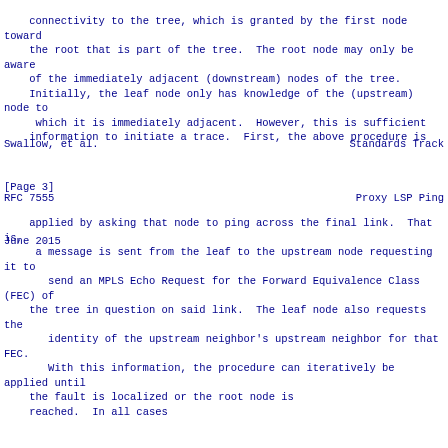connectivity to the tree, which is granted by the first node toward
    the root that is part of the tree.  The root node may only be aware
    of the immediately adjacent (downstream) nodes of the tree.
    Initially, the leaf node only has knowledge of the (upstream) node to
     which it is immediately adjacent.  However, this is sufficient
    information to initiate a trace.  First, the above procedure is
Swallow, et al.                                         Standards Track
[Page 3]
RFC 7555                                                  Proxy LSP Ping
June 2015
applied by asking that node to ping across the final link.  That is,
     a message is sent from the leaf to the upstream node requesting it to
       send an MPLS Echo Request for the Forward Equivalence Class (FEC) of
    the tree in question on said link.  The leaf node also requests the
       identity of the upstream neighbor's upstream neighbor for that FEC.
       With this information, the procedure can iteratively be applied until
    the fault is localized or the root node is
    reached.  In all cases